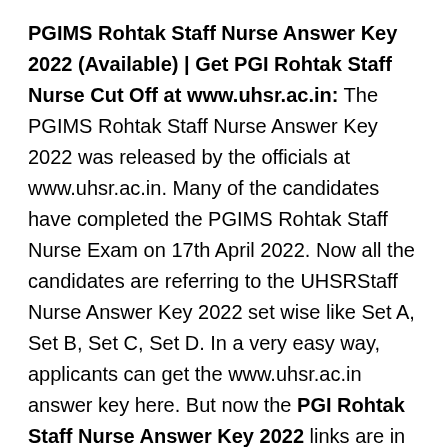PGIMS Rohtak Staff Nurse Answer Key 2022 (Available) | Get PGI Rohtak Staff Nurse Cut Off at www.uhsr.ac.in: The PGIMS Rohtak Staff Nurse Answer Key 2022 was released by the officials at www.uhsr.ac.in. Many of the candidates have completed the PGIMS Rohtak Staff Nurse Exam on 17th April 2022. Now all the candidates are referring to the UHSRStaff Nurse Answer Key 2022 set wise like Set A, Set B, Set C, Set D. In a very easy way, applicants can get the www.uhsr.ac.in answer key here. But now the PGI Rohtak Staff Nurse Answer Key 2022 links are in now activated state. The officials declared the exam key links so we updated this page. Category wise PGIMS Rohtak Staff Nurse Cut Off 2022 is going to update here for the candidate's sake. Along with the merit list, the official of PGIMS